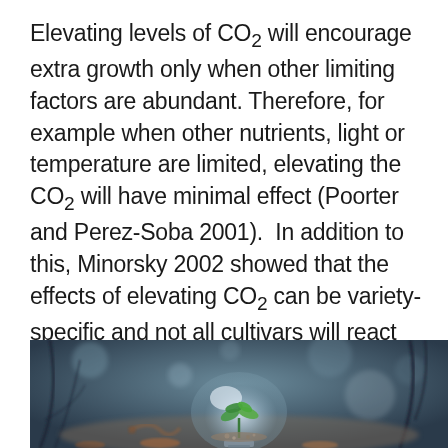Elevating levels of CO₂ will encourage extra growth only when other limiting factors are abundant. Therefore, for example when other nutrients, light or temperature are limited, elevating the CO₂ will have minimal effect (Poorter and Perez-Soba 2001).  In addition to this, Minorsky 2002 showed that the effects of elevating CO₂ can be variety-specific and not all cultivars will react the same if all else is equal.
[Figure (photo): Close-up photograph of a small green plant seedling growing inside a glass light bulb lying on the ground among dry twigs and leaves, with a blurred blue-grey bokeh background.]